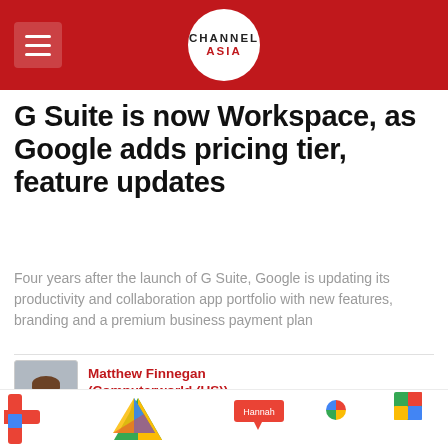CHANNEL ASIA
G Suite is now Workspace, as Google adds pricing tier, feature updates
Four years after the launch of G Suite, Google is updating its productivity and collaboration app portfolio with new features, branding and a premium business payment plan
Matthew Finnegan (Computerworld (US))
07 October, 2020 05:22
[Figure (illustration): Google Workspace app icons strip at bottom of page]